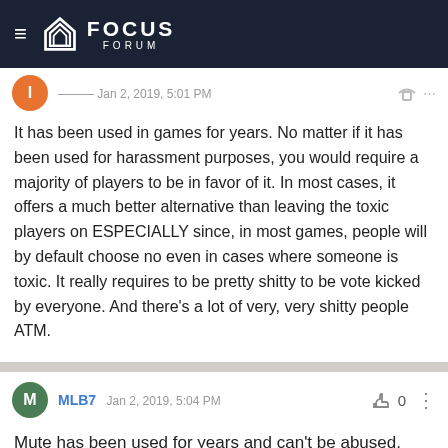FOCUS FORUM
It has been used in games for years. No matter if it has been used for harassment purposes, you would require a majority of players to be in favor of it. In most cases, it offers a much better alternative than leaving the toxic players on ESPECIALLY since, in most games, people will by default choose no even in cases where someone is toxic. It really requires to be pretty shitty to be vote kicked by everyone. And there's a lot of very, very shitty people ATM.
MLB7 Jan 2, 2019, 5:04 PM
Mute has been used for years and can't be abused.